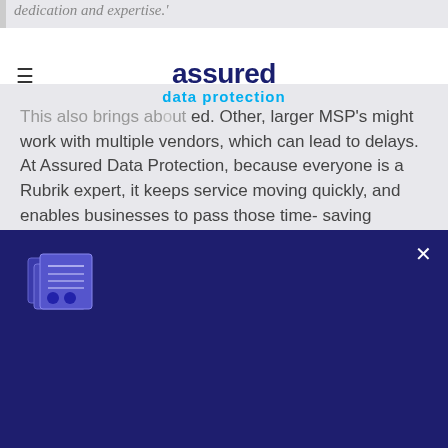dedication and expertise.'
assured data protection
This also brings about benefits not mentioned. Other, larger MSP's might work with multiple vendors, which can lead to delays. At Assured Data Protection, because everyone is a Rubrik expert, it keeps service moving quickly, and enables businesses to pass those time-saving benefits onto their customers.
Download the free 12 question cheat sheet
The 12 most helpful questions to ask a Rubrik-managed service provider before working with them
Download your free cheat sheet